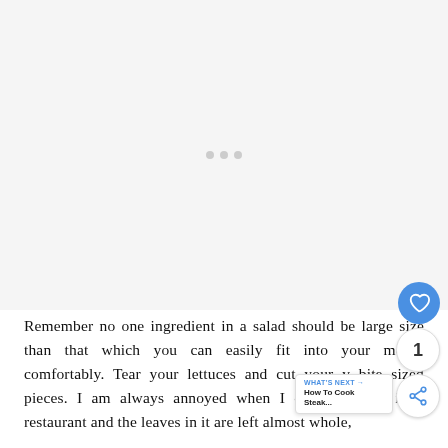[Figure (other): Advertisement placeholder area with three small dots in the center, light gray background]
Remember no one ingredient in a salad should be large size than that which you can easily fit into your mouth comfortably. Tear your lettuces and cut your v bite sized pieces. I am always annoyed when I order a salad in a restaurant and the leaves in it are left almost whole,